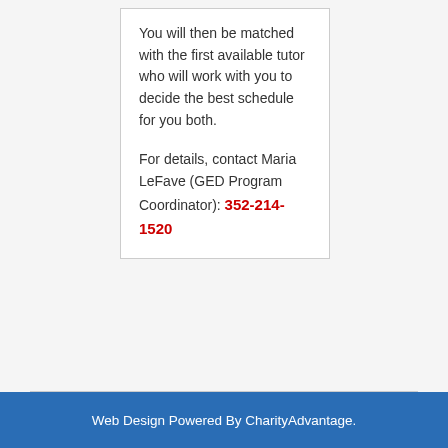You will then be matched with the first available tutor who will work with you to decide the best schedule for you both.

For details, contact Maria LeFave (GED Program Coordinator): 352-214-1520
Web Design Powered By CharityAdvantage.